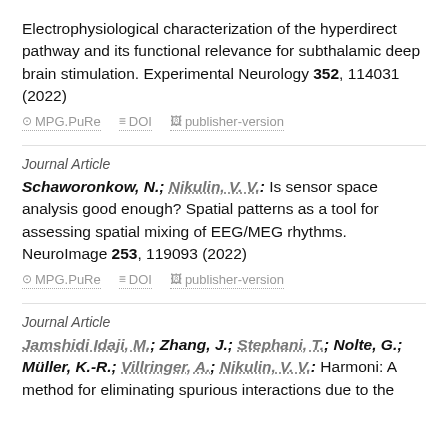Electrophysiological characterization of the hyperdirect pathway and its functional relevance for subthalamic deep brain stimulation. Experimental Neurology 352, 114031 (2022)
⊙ MPG.PuRe  ≡ DOI  □ publisher-version
Journal Article
Schaworonkow, N.; Nikulin, V. V.: Is sensor space analysis good enough? Spatial patterns as a tool for assessing spatial mixing of EEG/MEG rhythms. NeuroImage 253, 119093 (2022)
⊙ MPG.PuRe  ≡ DOI  □ publisher-version
Journal Article
Jamshidi Idaji, M.; Zhang, J.; Stephani, T.; Nolte, G.; Müller, K.-R.; Villringer, A.; Nikulin, V. V.: Harmoni: A method for eliminating spurious interactions due to the common...